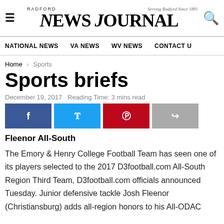RADFORD News Journal - Serving Radford Since 1881
NATIONAL NEWS  VA NEWS  WV NEWS  CONTACT US
Home > Sports
Sports briefs
December 19, 2017  Reading Time: 3 mins read
[Figure (other): Social share buttons: Facebook, Twitter, Pinterest, Share]
Fleenor All-South
The Emory & Henry College Football Team has seen one of its players selected to the 2017 D3football.com All-South Region Third Team, D3football.com officials announced Tuesday. Junior defensive tackle Josh Fleenor (Christiansburg) adds all-region honors to his All-ODAC